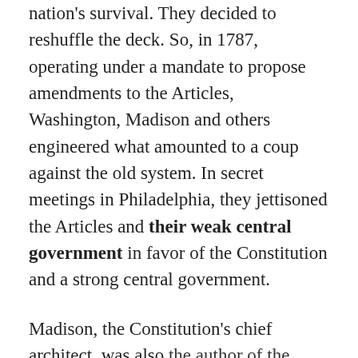nation's survival. They decided to reshuffle the deck. So, in 1787, operating under a mandate to propose amendments to the Articles, Washington, Madison and others engineered what amounted to a coup against the old system. In secret meetings in Philadelphia, they jettisoned the Articles and their weak central government in favor of the Constitution and a strong central government.
Madison, the Constitution's chief architect, was also the author of the Commerce Clause, which bestowed on the central government the important power to regulate interstate commerce, which many framers recognized as necessary for building an effective economy to compete with rivals in Europe and elsewhere.
Fooling the Tea Partiers